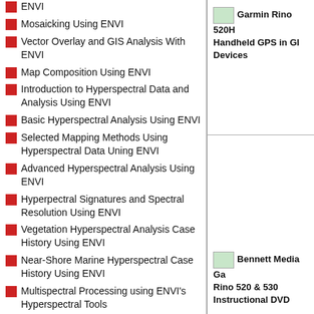ENVI
Mosaicking Using ENVI
Vector Overlay and GIS Analysis With ENVI
Map Composition Using ENVI
Introduction to Hyperspectral Data and Analysis Using ENVI
Basic Hyperspectral Analysis Using ENVI
Selected Mapping Methods Using Hyperspectral Data Uning ENVI
Advanced Hyperspectral Analysis Using ENVI
Hyperpectral Signatures and Spectral Resolution Using ENVI
Vegetation Hyperspectral Analysis Case History Using ENVI
Near-Shore Marine Hyperspectral Case History Using ENVI
Multispectral Processing using ENVI's Hyperspectral Tools
Basic SAR Processing and Analysis Using ENVI
Polarimetric SAR Processing and Analysis Using ENVI
Garmin Rino 520HCx Handheld GPS in GIS Devices
Bennett Media Garmin Rino 520 & 530 Instructional DVD